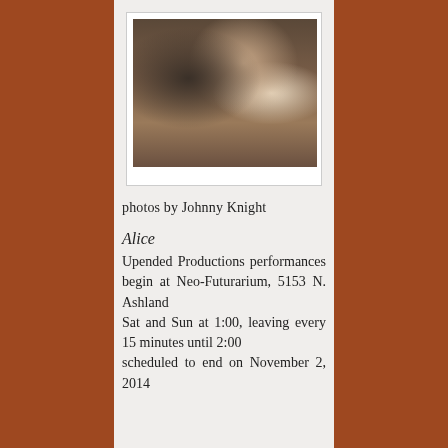[Figure (photo): Two people in a colorful indoor setting, one wearing a hat, the other in a floral dress, with a large rabbit puppet/costume between them.]
photos by Johnny Knight
Alice
Upended Productions performances begin at Neo-Futurarium, 5153 N. Ashland
Sat and Sun at 1:00, leaving every 15 minutes until 2:00
scheduled to end on November 2, 2014